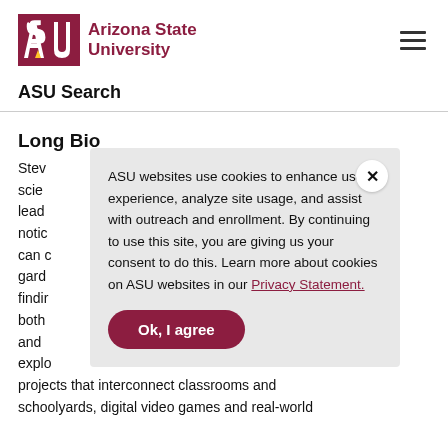ASU — Arizona State University
ASU Search
Long Bio
Steve [partially obscured by cookie banner] science leader notic can c gard findin both and expl projects that interconnect classrooms and schoolyards, digital video games and real-world
ASU websites use cookies to enhance user experience, analyze site usage, and assist with outreach and enrollment. By continuing to use this site, you are giving us your consent to do this. Learn more about cookies on ASU websites in our Privacy Statement.
Ok, I agree